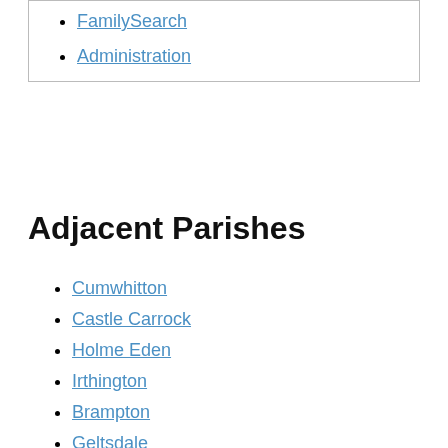FamilySearch
Administration
Adjacent Parishes
Cumwhitton
Castle Carrock
Holme Eden
Irthington
Brampton
Geltsdale
Midgeholme
Carlatton